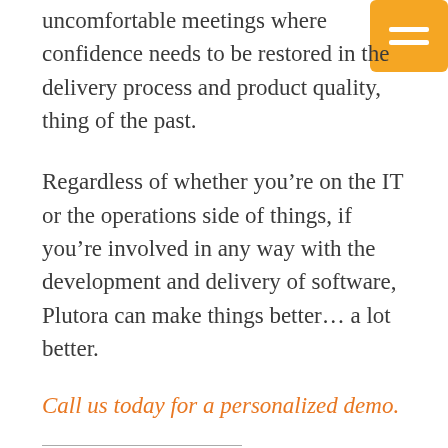uncomfortable meetings where confidence needs to be restored in the delivery process and product quality, thing of the past.
Regardless of whether you’re on the IT or the operations side of things, if you’re involved in any way with the development and delivery of software, Plutora can make things better… a lot better.
Call us today for a personalized demo.
Dan Packer
Dan is an Industry Specialist at Plutora. Dan got his first